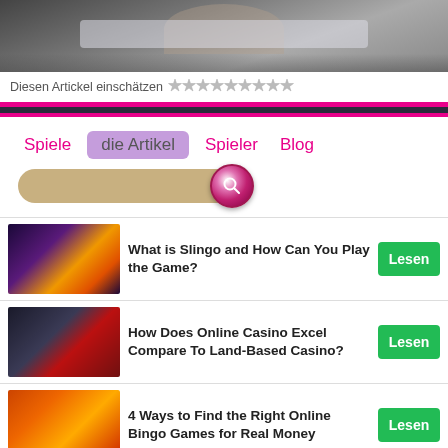[Figure (photo): Person using a laptop, partial view from the shoulders, photo cropped at top]
Diesen Artickel einschätzen ☆☆☆☆☆☆☆☆☆
Spiele
die Artikel
Spieler
Blog
[Figure (screenshot): Search bar with magnifying glass button]
What is Slingo and How Can You Play the Game?
How Does Online Casino Excel Compare To Land-Based Casino?
4 Ways to Find the Right Online Bingo Games for Real Money